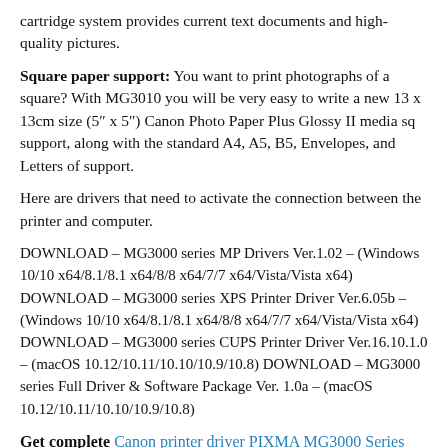cartridge system provides current text documents and high-quality pictures.
Square paper support: You want to print photographs of a square? With MG3010 you will be very easy to write a new 13 x 13cm size (5″ x 5″) Canon Photo Paper Plus Glossy II media sq support, along with the standard A4, A5, B5, Envelopes, and Letters of support.
Here are drivers that need to activate the connection between the printer and computer.
DOWNLOAD – MG3000 series MP Drivers Ver.1.02 – (Windows 10/10 x64/8.1/8.1 x64/8/8 x64/7/7 x64/Vista/Vista x64) DOWNLOAD – MG3000 series XPS Printer Driver Ver.6.05b – (Windows 10/10 x64/8.1/8.1 x64/8/8 x64/7/7 x64/Vista/Vista x64) DOWNLOAD – MG3000 series CUPS Printer Driver Ver.16.10.1.0 – (macOS 10.12/10.11/10.10/10.9/10.8) DOWNLOAD – MG3000 series Full Driver & Software Package Ver. 1.0a – (macOS 10.12/10.11/10.10/10.9/10.8)
Get complete Canon printer driver PIXMA MG3000 Series